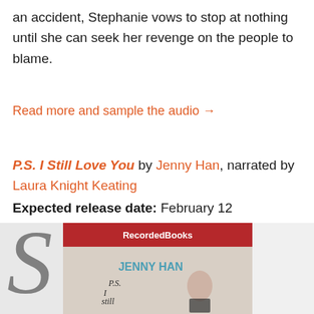an accident, Stephanie vows to stop at nothing until she can seek her revenge on the people to blame.
Read more and sample the audio →
P.S. I Still Love You by Jenny Han, narrated by Laura Knight Keating
Expected release date: February 12
[Figure (photo): Book cover for P.S. I Still Love You by Jenny Han, published by Recorded Books, showing a girl sitting by a window with the book title written in script]